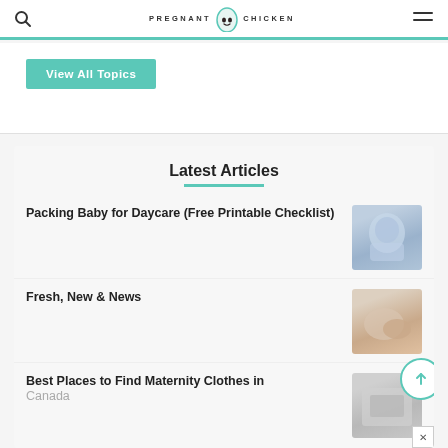PREGNANT CHICKEN
View All Topics
Latest Articles
Packing Baby for Daycare (Free Printable Checklist)
Fresh, New & News
Best Places to Find Maternity Clothes in Canada